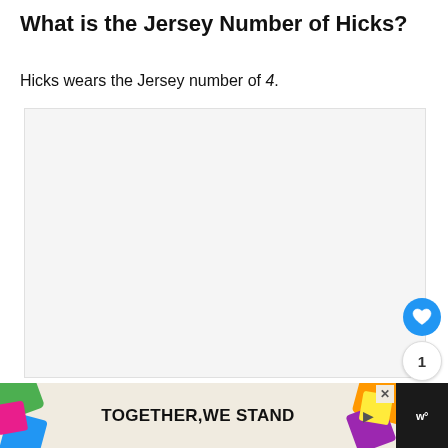What is the Jersey Number of Hicks?
Hicks wears the Jersey number of 4.
[Figure (other): Image placeholder area with light gray background and three dots indicating image carousel]
[Figure (infographic): Advertisement banner: TOGETHER WE STAND with colorful decorative shapes on dark background]